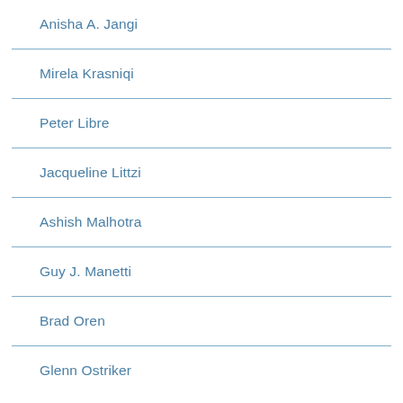Anisha A. Jangi
Mirela Krasniqi
Peter Libre
Jacqueline Littzi
Ashish Malhotra
Guy J. Manetti
Brad Oren
Glenn Ostriker